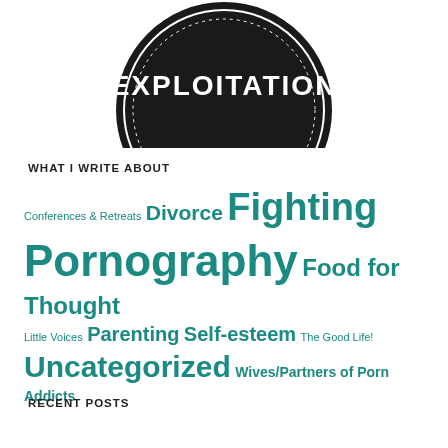[Figure (logo): Circular badge logo with dark background showing 'EXPLOITATION' text in white, with dotted border ring]
WHAT I WRITE ABOUT
Conferences & Retreats  Divorce  Fighting Pornography  Food for Thought  Little Voices  Parenting  Self-esteem  The Good Life!  Uncategorized  Wives/Partners of Porn Addicts
RECENT POSTS